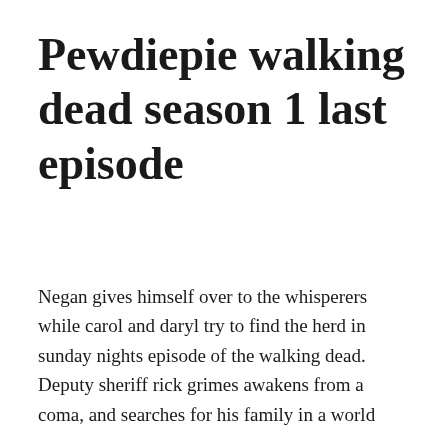Pewdiepie walking dead season 1 last episode
Negan gives himself over to the whisperers while carol and daryl try to find the herd in sunday nights episode of the walking dead. Deputy sheriff rick grimes awakens from a coma, and searches for his family in a world